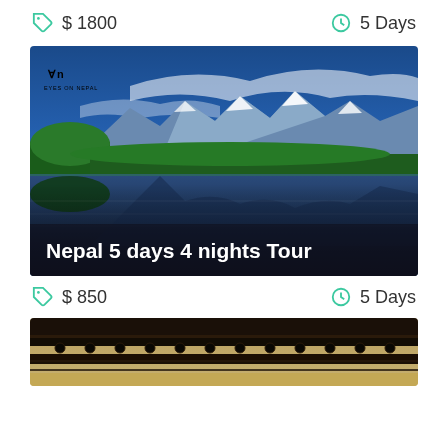$ 1800   5 Days
[Figure (photo): Panoramic lake reflection photo of Pokhara Nepal with snow-capped Annapurna mountains, green trees, and 'Nepal 5 days 4 nights Tour' title overlay with Eyes on Nepal logo]
Nepal 5 days 4 nights Tour
$ 850   5 Days
[Figure (photo): Partial view of a historic wooden bridge or temple structure with ornate carved railings, Nepal architecture]